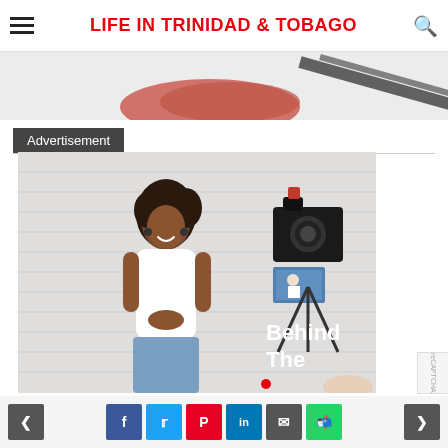LIFE IN TRINIDAD & TOBAGO
[Figure (photo): Partially visible photo at top of page, showing what appears to be a red and dark object on a white/grey background]
Advertisement
[Figure (photo): A smiling woman with curly hair wearing a white tank top and blue jeans stands in front of a white brick wall. On the right side, a camera on a tripod is visible pointing at her. Text overlay reads 'Behind The' in white bold letters.]